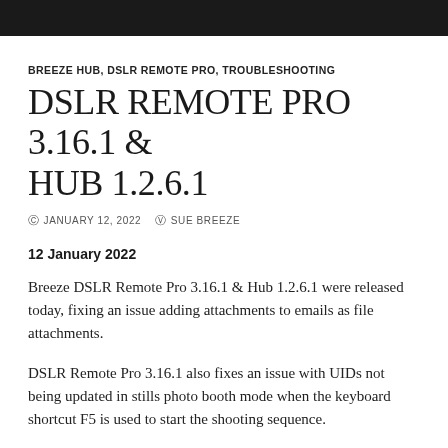BREEZE HUB, DSLR REMOTE PRO, TROUBLESHOOTING
DSLR REMOTE PRO 3.16.1 & HUB 1.2.6.1
JANUARY 12, 2022   SUE BREEZE
12 January 2022
Breeze DSLR Remote Pro 3.16.1 & Hub 1.2.6.1 were released today, fixing an issue adding attachments to emails as file attachments.
DSLR Remote Pro 3.16.1 also fixes an issue with UIDs not being updated in stills photo booth mode when the keyboard shortcut F5 is used to start the shooting sequence.